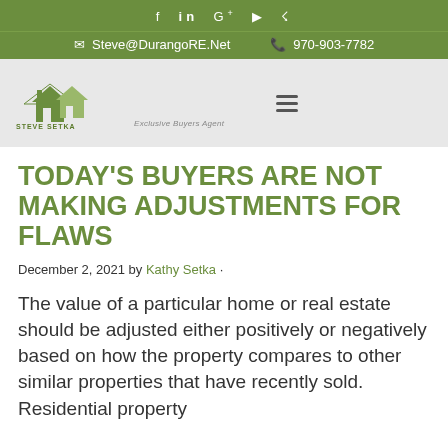f in G+ ▶ ☁
✉ Steve@DurangoRE.Net  ✆ 970-903-7782
[Figure (logo): Steve Setka Exclusive Buyers Agent logo with house graphic]
TODAY'S BUYERS ARE NOT MAKING ADJUSTMENTS FOR FLAWS
December 2, 2021 by Kathy Setka ·
The value of a particular home or real estate should be adjusted either positively or negatively based on how the property compares to other similar properties that have recently sold. Residential property